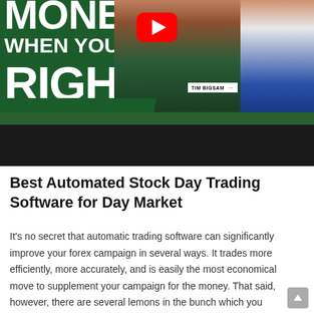[Figure (screenshot): YouTube thumbnail showing text 'MONEY WHEN YOU'RE RIGHT' in large white bold letters on a green background, a YouTube play button icon, a name label 'TIM BIGSAM', two men visible (one in a green jacket, one in a blue blazer), with a green bar and a black bar across the bottom of the thumbnail.]
Best Automated Stock Day Trading Software for Day Market
It's no secret that automatic trading software can significantly improve your forex campaign in several ways. It trades more efficiently, more accurately, and is easily the most economical move to supplement your campaign for the money. That said, however, there are several lemons in the bunch which you